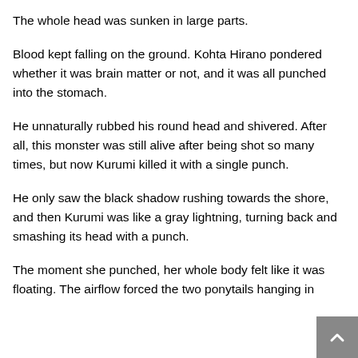The whole head was sunken in large parts.
Blood kept falling on the ground. Kohta Hirano pondered whether it was brain matter or not, and it was all punched into the stomach.
He unnaturally rubbed his round head and shivered. After all, this monster was still alive after being shot so many times, but now Kurumi killed it with a single punch.
He only saw the black shadow rushing towards the shore, and then Kurumi was like a gray lightning, turning back and smashing its head with a punch.
The moment she punched, her whole body felt like it was floating. The airflow forced the two ponytails hanging in front of her chest to the back, which was the most...